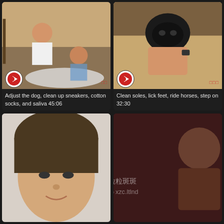[Figure (screenshot): Video thumbnail showing two people, one kneeling on floor]
Adjust the dog, clean up sneakers, cotton socks, and saliva 45:06
[Figure (screenshot): Video thumbnail showing person wearing black mask]
Clean soles, lick feet, ride horses, step on 32:30
[Figure (screenshot): Video thumbnail partially visible, person's face]
[Figure (screenshot): Video thumbnail partially visible, dark scene]